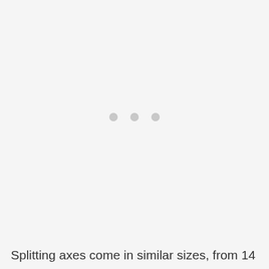[Figure (other): Loading indicator with three grey dots centered in a large light grey area]
Splitting axes come in similar sizes, from 14